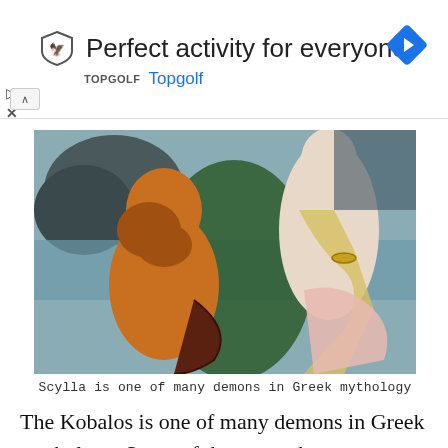[Figure (screenshot): Advertisement banner for Topgolf: shield logo, text 'Perfect activity for everyone', blue 'Topgolf' link, navigation arrow icon on right, play and close controls on left]
[Figure (photo): Classical oil painting depicting Scylla, a mythological demon from Greek mythology. Shows a golden-skinned bearded male figure (sea creature) on the left and a pale female figure in yellow drapery on the right, with green foliage and a dark rocky seascape in the background.]
Scylla is one of many demons in Greek mythology
The Kobalos is one of many demons in Greek mythology. Some of the more obscure ancient Greek demons are: